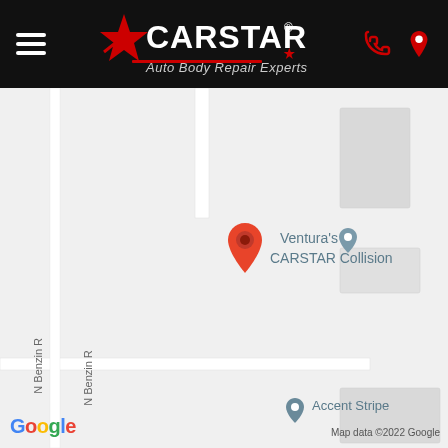[Figure (logo): CARSTAR Auto Body Repair Experts logo on black header bar with hamburger menu on left and phone/location icons on right]
[Figure (map): Google Maps screenshot showing location of Ventura's CARSTAR Collision on N Benzin R street, with red map pin marking the location and a gray map pin for the business label, and an Accent Stripe location marker at the bottom]
Map data ©2022 Google